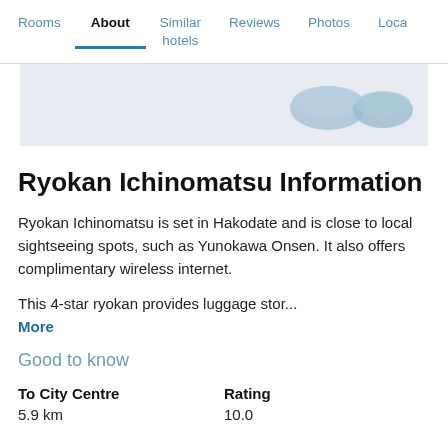Rooms | About | Similar hotels | Reviews | Photos | Loca...
[Figure (photo): Partial hotel or room image showing blue/grey shapes on light background]
Ryokan Ichinomatsu Information
Ryokan Ichinomatsu is set in Hakodate and is close to local sightseeing spots, such as Yunokawa Onsen. It also offers complimentary wireless internet.
This 4-star ryokan provides luggage stor...
More
Good to know
| To City Centre | Rating |
| --- | --- |
| 5.9 km | 10.0 |